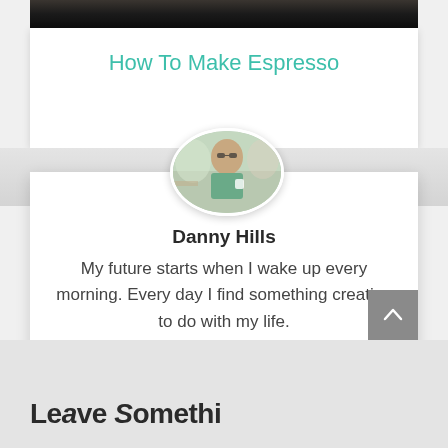[Figure (photo): Partial view of a dark espresso machine on a wooden surface, showing the top portion cropped at the top of the page]
How To Make Espresso
[Figure (photo): Oval portrait photo of Danny Hills, a man wearing sunglasses and holding a cup, seated in an outdoor or cafe setting]
Danny Hills
My future starts when I wake up every morning. Every day I find something creative to do with my life.